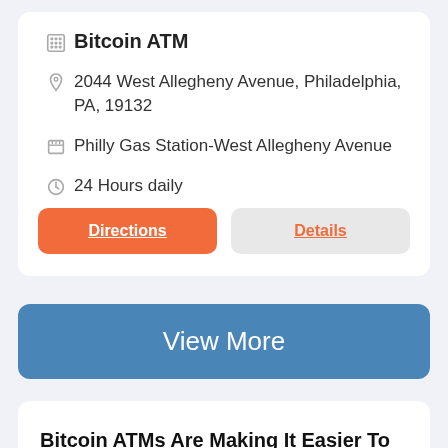Bitcoin ATM
2044 West Allegheny Avenue, Philadelphia, PA, 19132
Philly Gas Station-West Allegheny Avenue
24 Hours daily
Directions
Details
View More
Bitcoin ATMs Are Making It Easier To